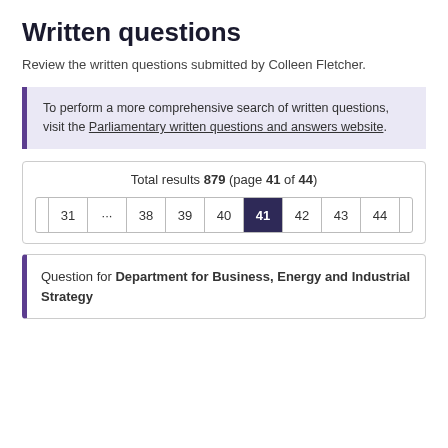Written questions
Review the written questions submitted by Colleen Fletcher.
To perform a more comprehensive search of written questions, visit the Parliamentary written questions and answers website.
Total results 879 (page 41 of 44)
« ‹ 31 … 38 39 40 41 42 43 44 › »
Question for Department for Business, Energy and Industrial Strategy